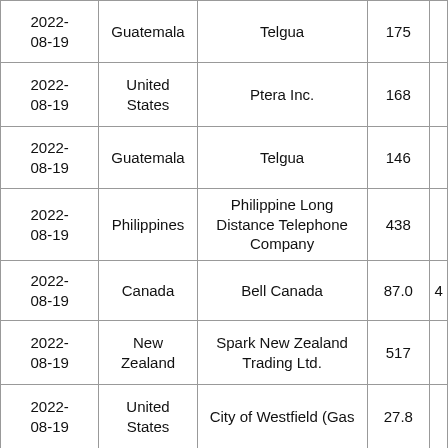| 2022-08-19 | Guatemala | Telgua | 175 |  |
| 2022-08-19 | United States | Ptera Inc. | 168 |  |
| 2022-08-19 | Guatemala | Telgua | 146 |  |
| 2022-08-19 | Philippines | Philippine Long Distance Telephone Company | 438 |  |
| 2022-08-19 | Canada | Bell Canada | 87.0 | 4 |
| 2022-08-19 | New Zealand | Spark New Zealand Trading Ltd. | 517 |  |
| 2022-08-19 | United States | City of Westfield (Gas | 27.8 |  |